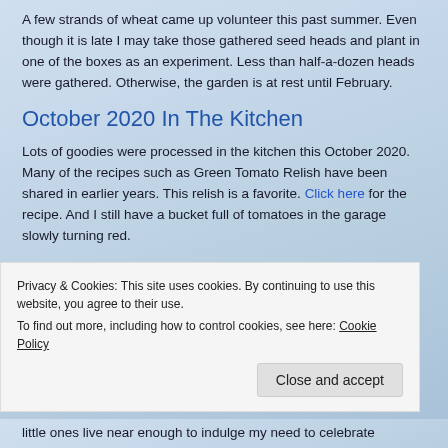A few strands of wheat came up volunteer this past summer. Even though it is late I may take those gathered seed heads and plant in one of the boxes as an experiment. Less than half-a-dozen heads were gathered. Otherwise, the garden is at rest until February.
October 2020 In The Kitchen
Lots of goodies were processed in the kitchen this October 2020. Many of the recipes such as Green Tomato Relish have been shared in earlier years. This relish is a favorite. Click here for the recipe. And I still have a bucket full of tomatoes in the garage slowly turning red.
The baking season is about to begin. I am fine tuning another biscuit recipe. Unlike the Hearty Wheat Buttermilk
Privacy & Cookies: This site uses cookies. By continuing to use this website, you agree to their use.
To find out more, including how to control cookies, see here: Cookie Policy
Close and accept
little ones live near enough to indulge my need to celebrate